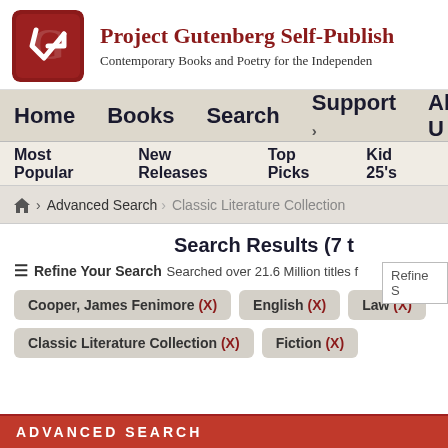Project Gutenberg Self-Publish — Contemporary Books and Poetry for the Independent
Home  Books  Search  Support  About U
Most Popular  New Releases  Top Picks  Kid 25's
Home > Advanced Search > Classic Literature Collection
Search Results (7 t
Searched over 21.6 Million titles
☰ Refine Your Search
Cooper, James Fenimore (X)
English (X)
Law (X)
Classic Literature Collection (X)
Fiction (X)
ADVANCED SEARCH